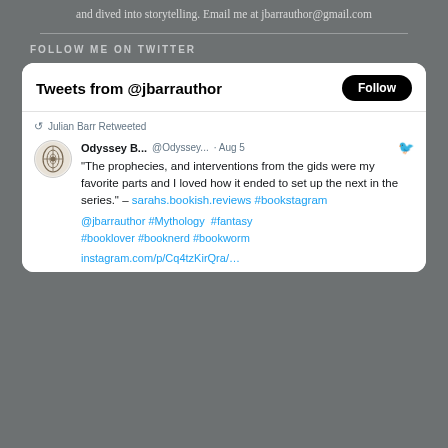and dived into storytelling. Email me at jbarrauthor@gmail.com
FOLLOW ME ON TWITTER
[Figure (screenshot): Twitter widget showing tweets from @jbarrauthor with a Follow button, displaying a retweet by Julian Barr from Odyssey B... @Odyssey... Aug 5 reading: 'The prophecies, and interventions from the gids were my favorite parts and I loved how it ended to set up the next in the series.' – sarahs.bookish.reviews #bookstagram @jbarrauthor #Mythology #fantasy #booklover #booknerd #bookworm instagram.com/p/Cq4tzKirQra/...]